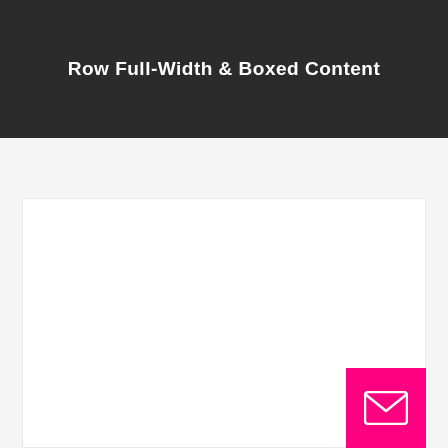Row Full-Width & Boxed Content
[Figure (screenshot): White boxed content area on a light gray background, with a pink/magenta email button icon in the bottom-right corner]